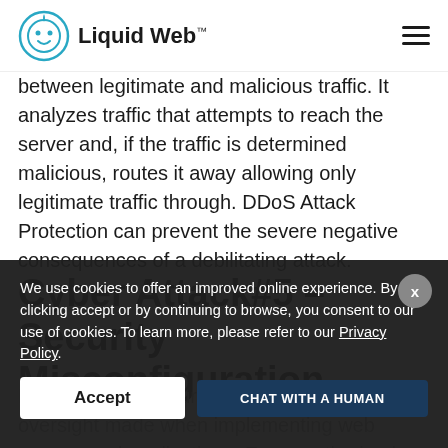Liquid Web™
between legitimate and malicious traffic. It analyzes traffic that attempts to reach the server and, if the traffic is determined malicious, routes it away allowing only legitimate traffic through. DDoS Attack Protection can prevent the severe negative consequences of a debilitating attack.
Cyber Attack#5 – Security Misconfiguration
Misconfigured security settings are a frequent oversight made when implementing web servers and applications. E... unauthorized access to...
We use cookies to offer an improved online experience. By clicking accept or by continuing to browse, you consent to our use of cookies. To learn more, please refer to our Privacy Policy.